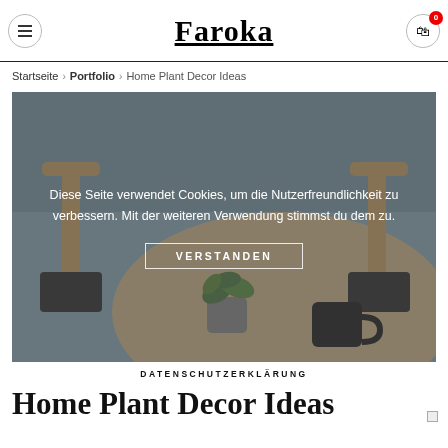Faroka
Startseite › Portfolio › Home Plant Decor Ideas
[Figure (photo): Overhead view of a round wooden table with a small potted plant with green leaves and a black ceramic mug, plus two wooden chairs with dark seats, against a grey-blue wall. A semi-transparent cookie consent overlay is visible with text: Diese Seite verwendet Cookies, um die Nutzerfreundlichkeit zu verbessern. Mit der weiteren Verwendung stimmst du dem zu. VERSTANDEN]
DATENSCHUTZERKLARUNG
Home Plant Decor Ideas